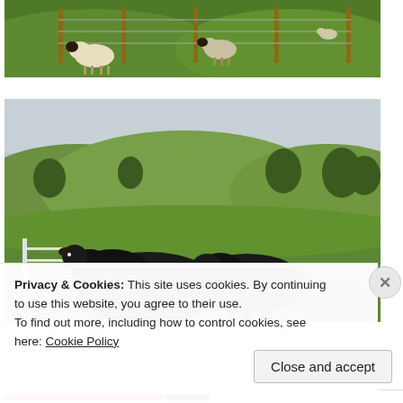[Figure (photo): Sheep grazing in a green paddock with wooden fence posts, New Zealand farmland]
[Figure (photo): Black Angus cattle at a gate/fence with rolling green hills in the background, New Zealand farmland]
Privacy & Cookies: This site uses cookies. By continuing to use this website, you agree to their use.
To find out more, including how to control cookies, see here: Cookie Policy
Close and accept